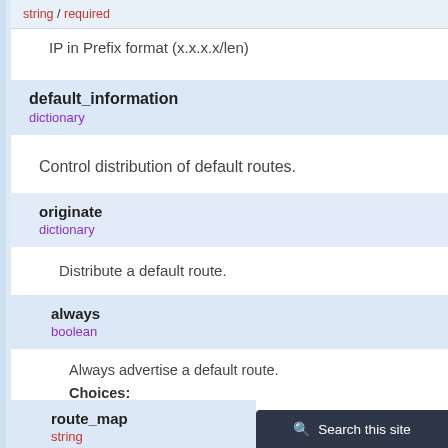string / required
IP in Prefix format (x.x.x.x/len)
default_information
dictionary
Control distribution of default routes.
originate
dictionary
Distribute a default route.
always
boolean
Always advertise a default route.
Choices:
no
yes
route_map
string